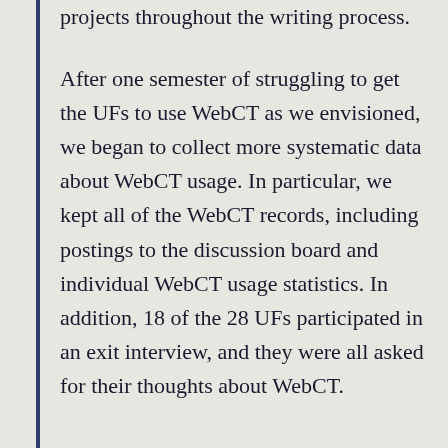supportive as well as instructional on their projects throughout the writing process.
After one semester of struggling to get the UFs to use WebCT as we envisioned, we began to collect more systematic data about WebCT usage. In particular, we kept all of the WebCT records, including postings to the discussion board and individual WebCT usage statistics. In addition, 18 of the 28 UFs participated in an exit interview, and they were all asked for their thoughts about WebCT.
Analysis of Issues When Using